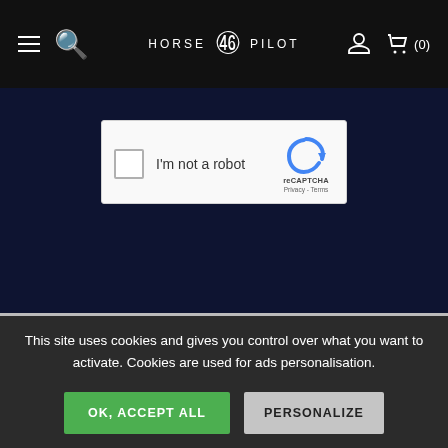HORSE PILOT (0)
[Figure (screenshot): reCAPTCHA widget with checkbox labeled 'I'm not a robot' and reCAPTCHA logo with Privacy and Terms links]
This site uses cookies and gives you control over what you want to activate. Cookies are used for ads personalisation.
OK, ACCEPT ALL
PERSONALIZE